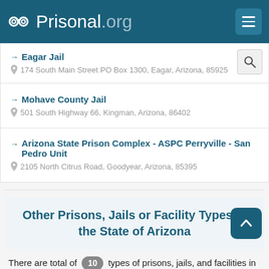Prisonal.org
Eagar Jail
174 South Main Street PO Box 1300, Eagar, Arizona, 85925
Mohave County Jail
501 South Highway 66, Kingman, Arizona, 86402
Arizona State Prison Complex - ASPC Perryville - San Pedro Unit
2105 North Citrus Road, Goodyear, Arizona, 85395
Other Prisons, Jails or Facility Types in the State of Arizona
There are total of 10 types of prisons, jails, and facilities in the state of the Arizona including County